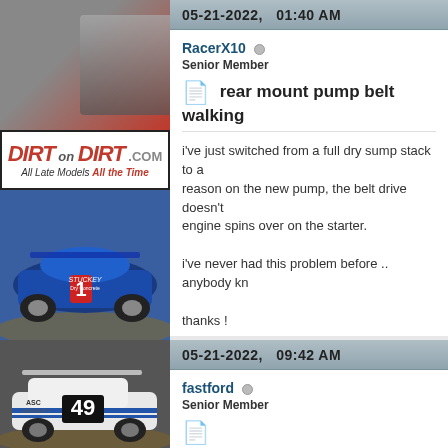[Figure (photo): Dirt racing car top portion, silver/red background]
[Figure (logo): Dirt on Dirt .com logo - All Late Models All the Time]
[Figure (photo): Blue dirt late model race car #1 on dirt track]
[Figure (photo): White dirt late model race car #49 with ASC Warranty sponsor]
[Figure (photo): Partial view of another dirt late model race car]
05-21-2022,   01:40 AM
RaeerX10
Senior Member
rear mount pump belt walking
i've just switched from a full dry sump stack to a reason on the new pump, the belt drive doesn't engine spins over on the starter.

i've never had this problem before .. anybody k

thanks !
05-21-2022,   09:42 AM
fastford
Senior Member
something is out of line , we have had a proble it in place , may not be the best but if its out jus